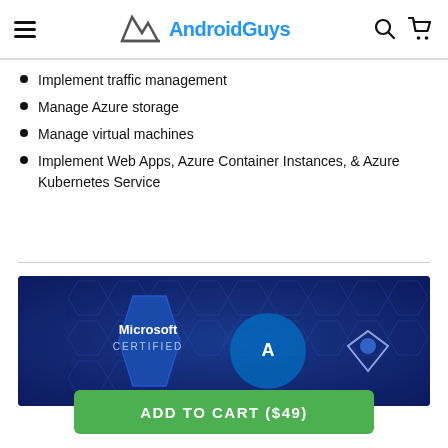AndroidGuys
Implement traffic management
Manage Azure storage
Manage virtual machines
Implement Web Apps, Azure Container Instances, & Azure Kubernetes Service
[Figure (illustration): Blue background banner with Microsoft Certified badge on the left and Azure logos on a dark blue hexagonal pattern background]
ADD TO CART ($49)